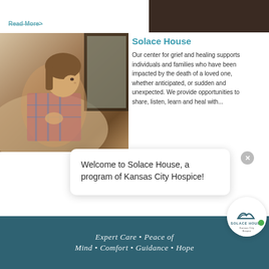Read More >
[Figure (photo): Child with brown hair looking out a window from inside a car, wearing a plaid shirt]
Solace House
Our center for grief and healing supports individuals and families who have been impacted by the death of a loved one, whether anticipated, or sudden and unexpected. We provide opportunities to share, listen, learn and heal with...
Welcome to Solace House, a program of Kansas City Hospice!
[Figure (logo): Solace House Kansas City Hospice logo — circular emblem with mountain/wave icon, text SOLACE HOUSE Kansas City Hospice]
Expert Care • Peace of Mind • Comfort • Guidance • Hope